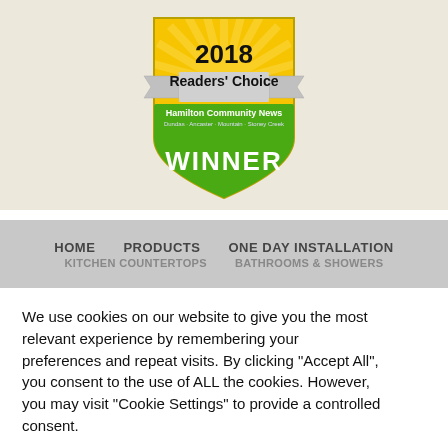[Figure (logo): 2018 Readers' Choice Hamilton Community News WINNER badge/shield with gold sunburst top and green bottom]
HOME   PRODUCTS   ONE DAY INSTALLATION
KITCHEN COUNTERTOPS   BATHROOMS & SHOWERS
We use cookies on our website to give you the most relevant experience by remembering your preferences and repeat visits. By clicking "Accept All", you consent to the use of ALL the cookies. However, you may visit "Cookie Settings" to provide a controlled consent.
Cookie Settings
Accept All